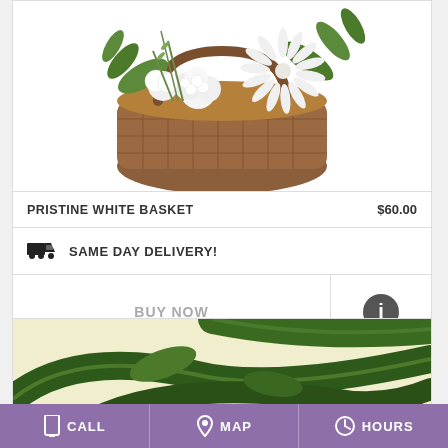[Figure (photo): White flower arrangement in a brown wicker basket, cropped at top, showing flowers and foliage against white background.]
PRISTINE WHITE BASKET    $60.00
SAME DAY DELIVERY!
BUY NOW
[Figure (photo): Green tropical plant leaves against a light yellow/cream background, partially visible.]
CALL   MAP   HOURS